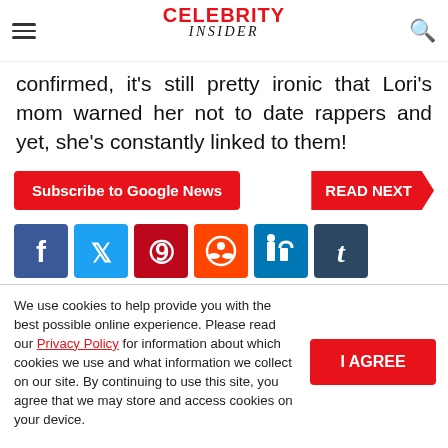CELEBRITY INSIDER
confirmed, it's still pretty ironic that Lori's mom warned her not to date rappers and yet, she's constantly linked to them!
Subscribe to Google News | READ NEXT
[Figure (infographic): Social media share buttons: Facebook, Twitter, Pinterest, Reddit, LinkedIn, Tumblr]
We use cookies to help provide you with the best possible online experience. Please read our Privacy Policy for information about which cookies we use and what information we collect on our site. By continuing to use this site, you agree that we may store and access cookies on your device.